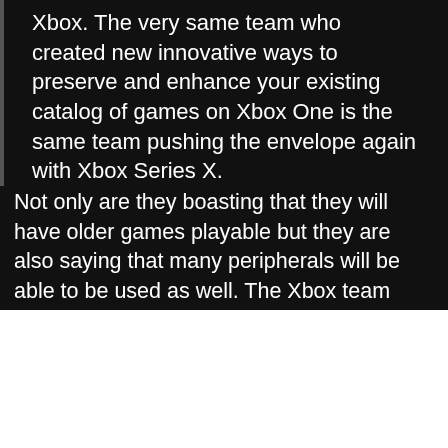Xbox. The very same team who created new innovative ways to preserve and enhance your existing catalog of games on Xbox One is the same team pushing the envelope again with Xbox Series X.
Not only are they boasting that they will have older games playable but they are also saying that many peripherals will be able to be used as well. The Xbox team states, “Not only that, your favorite gaming accessories and peripherals should also move forward with you as well.” So what I’m genuinely hoping is that we can finally play Guitar Hero and